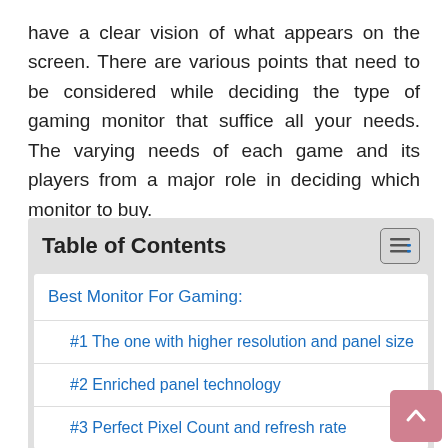have a clear vision of what appears on the screen. There are various points that need to be considered while deciding the type of gaming monitor that suffice all your needs. The varying needs of each game and its players from a major role in deciding which monitor to buy.
Table of Contents
Best Monitor For Gaming:
#1 The one with higher resolution and panel size
#2 Enriched panel technology
#3 Perfect Pixel Count and refresh rate